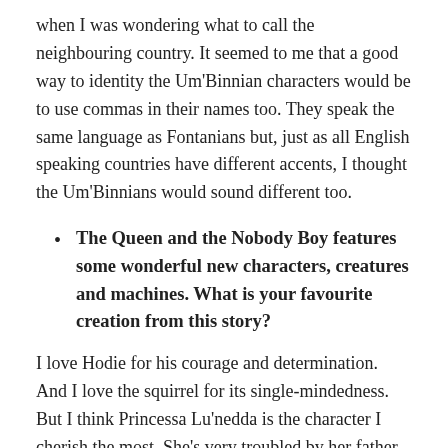when I was wondering what to call the neighbouring country. It seemed to me that a good way to identity the Um'Binnian characters would be to use commas in their names too. They speak the same language as Fontanians but, just as all English speaking countries have different accents, I thought the Um'Binnians would sound different too.
The Queen and the Nobody Boy features some wonderful new characters, creatures and machines. What is your favourite creation from this story?
I love Hodie for his courage and determination.  And I love the squirrel for its single-mindedness.  But I think Princessa Lu'nedda is the character I cherish the most. She's very troubled by her father, seems far too cutesy